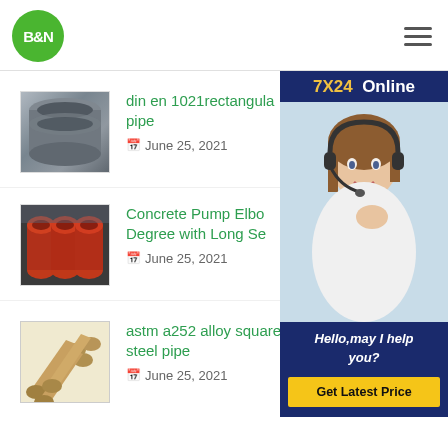B&N
[Figure (photo): 7X24 Online customer service widget with photo of woman wearing headset, text 'Hello, may I help you?' and 'Get Latest Price' button]
[Figure (photo): Steel pipes stacked horizontally]
din en 1021rectangular pipe
June 25, 2021
[Figure (photo): Orange/red steel pipes stacked in warehouse]
Concrete Pump Elbow Degree with Long Se…
June 25, 2021
[Figure (photo): Three bronze/gold colored pipes or tubes]
astm a252 alloy square lsaw welded 24 inch steel pipe
June 25, 2021